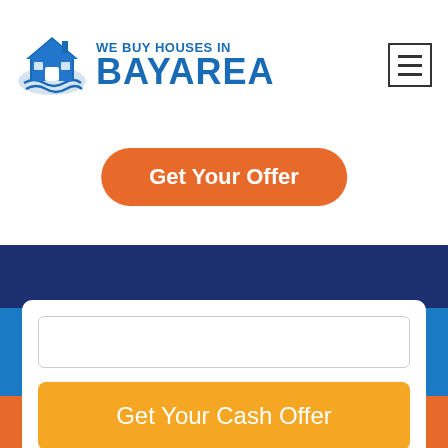[Figure (logo): We Buy Houses in Bay Area logo with house icon]
Get Your Offer
Get Your Cash Offer
House in a Mess? You Don't
Call us! (510) 900-8770